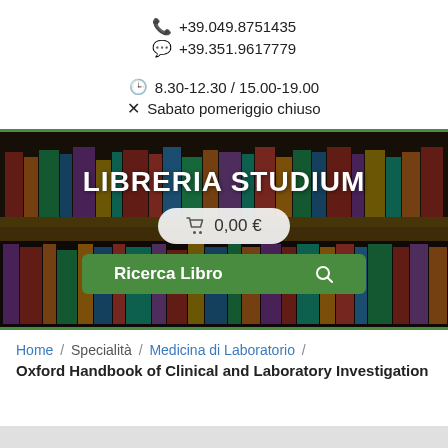📞 +39.049.8751435
💬 +39.351.9617779
🕒 8.30-12.30 / 15.00-19.00
✕ Sabato pomeriggio chiuso
[Figure (photo): Bookshelf with colorful books — Libreria Studium hero banner with cart button showing 0,00€ and a Ricerca Libro search button]
Home / Specialità / Medicina di Laboratorio / Oxford Handbook of Clinical and Laboratory Investigation